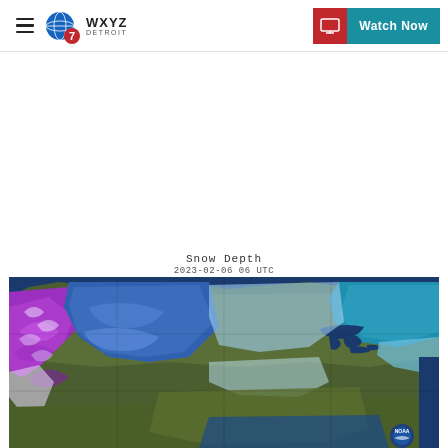WXYZ Detroit – Watch Now
[Figure (map): Snow Depth map of North America dated 2023-02-06 06 UTC, showing snow depth with color gradient from purple (deep snow in western mountains and Pacific Northwest) through blue and cyan (moderate snow across central Canada and northeastern US) to light blue/white (shallow snow), with green areas indicating no snow, from a NOAA source.]
Snow Depth
2023-02-06 06 UTC